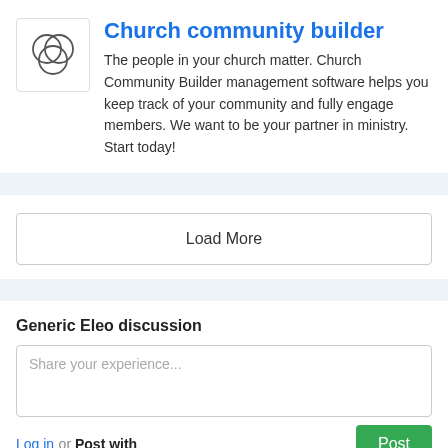[Figure (logo): Church Community Builder logo: three overlapping circles forming a Venn diagram pattern, outline style]
Church community builder
The people in your church matter. Church Community Builder management software helps you keep track of your community and fully engage members. We want to be your partner in ministry. Start today!
Load More
Generic Eleo discussion
Share your experience...
Log in or Post with
Name
Email
Post